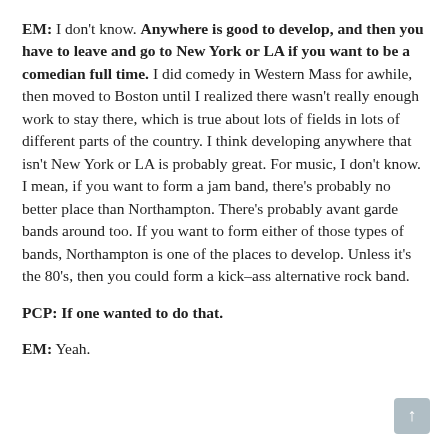EM: I don't know. Anywhere is good to develop, and then you have to leave and go to New York or LA if you want to be a comedian full time. I did comedy in Western Mass for awhile, then moved to Boston until I realized there wasn't really enough work to stay there, which is true about lots of fields in lots of different parts of the country. I think developing anywhere that isn't New York or LA is probably great. For music, I don't know. I mean, if you want to form a jam band, there's probably no better place than Northampton. There's probably avant garde bands around too. If you want to form either of those types of bands, Northampton is one of the places to develop. Unless it's the 80's, then you could form a kick–ass alternative rock band.
PCP: If one wanted to do that.
EM: Yeah.